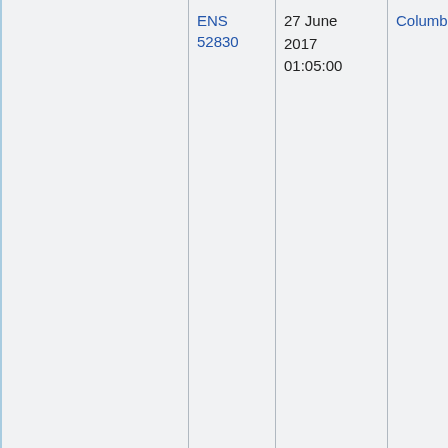|  | ENS 52830 | 27 June 2017 01:05:00 | Columbia | NRC Region 4 |
| --- | --- | --- | --- | --- |
|  | ENS 52830 | 27 June 2017 01:05:00 | Columbia | NRC Region 4 |